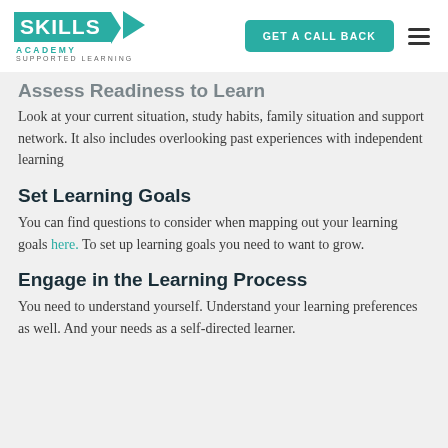[Figure (logo): Skills Academy Supported Learning logo with teal background and white text]
Assess Readiness to Learn
Look at your current situation, study habits, family situation and support network. It also includes overlooking past experiences with independent learning
Set Learning Goals
You can find questions to consider when mapping out your learning goals here. To set up learning goals you need to want to grow.
Engage in the Learning Process
You need to understand yourself. Understand your learning preferences as well. And your needs as a self-directed learner.